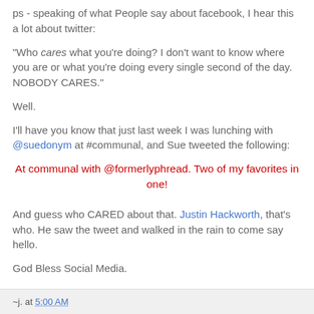ps - speaking of what People say about facebook, I hear this a lot about twitter:
"Who cares what you're doing? I don't want to know where you are or what you're doing every single second of the day. NOBODY CARES."
Well.
I'll have you know that just last week I was lunching with @suedonym at #communal, and Sue tweeted the following:
At communal with @formerlyphread. Two of my favorites in one!
And guess who CARED about that. Justin Hackworth, that's who. He saw the tweet and walked in the rain to come say hello.
God Bless Social Media.
~j. at 5:00 AM